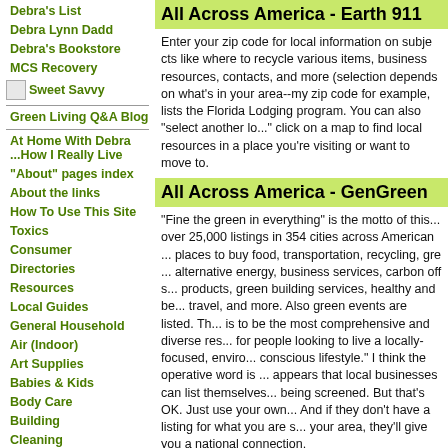Debra's List
Debra Lynn Dadd
Debra's Bookstore
MCS Recovery
Sweet Savvy
Green Living Q&A Blog
At Home With Debra ...How I Really Live
"About" pages index
About the links
How To Use This Site
Toxics
Consumer
Directories
Resources
Local Guides
General Household
Air (Indoor)
Art Supplies
Babies & Kids
Body Care
Building
Cleaning
Energy
All Across America - Earth 911
Enter your zip code for local information on subjects like where to recycle various items, business resources, contacts, and more (selection depends on what's in your area--my zip code for example, lists the Florida Lodging program. You can also "select another lo..." click on a map to find local resources in a place you're visiting or want to move to.
All Across America - GenGreen
"Fine the green in everything" is the motto of this... over 25,000 listings in 354 cities across American... places to buy food, transportation, recycling, gre... alternative energy, business services, carbon offs... products, green building services, healthy and be... travel, and more. Also green events are listed. Th... is to be the most comprehensive and diverse res... for people looking to live a locally-focused, envi... conscious lifestyle." I think the operative word is... appears that local businesses can list themselves... being screened. But that's OK. Just use your owi... And if they don't have a listing for what you are s... your area, they'll give you a national connection.
California - Los Angeles - Greenopia
A "Zagat" guide to green living in the Los Angele...